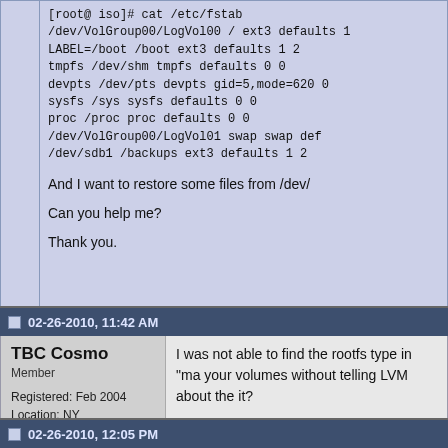[root@ iso]# cat /etc/fstab
/dev/VolGroup00/LogVol00 / ext3 defaults 1
LABEL=/boot /boot ext3 defaults 1 2
tmpfs /dev/shm tmpfs defaults 0 0
devpts /dev/pts devpts gid=5,mode=620 0
sysfs /sys sysfs defaults 0 0
proc /proc proc defaults 0 0
/dev/VolGroup00/LogVol01 swap swap def
/dev/sdb1 /backups ext3 defaults 1 2
And I want to restore some files from /dev/
Can you help me?
Thank you.
02-26-2010, 11:42 AM
TBC Cosmo
Member
Registered: Feb 2004
Location: NY
Distribution: Fedora 10, CentOS 5.4, Debian 5 Sparc64
Posts: 356
Rep:
I was not able to find the rootfs type in "ma your volumes without telling LVM about the it?
02-26-2010, 12:05 PM